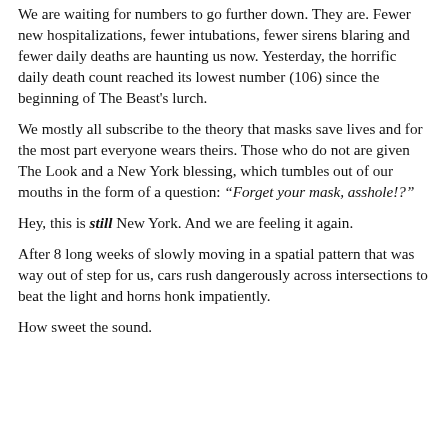We are waiting for numbers to go further down. They are. Fewer new hospitalizations, fewer intubations, fewer sirens blaring and fewer daily deaths are haunting us now. Yesterday, the horrific daily death count reached its lowest number (106) since the beginning of The Beast's lurch.
We mostly all subscribe to the theory that masks save lives and for the most part everyone wears theirs. Those who do not are given The Look and a New York blessing, which tumbles out of our mouths in the form of a question: “Forget your mask, asshole!?”
Hey, this is still New York. And we are feeling it again.
After 8 long weeks of slowly moving in a spatial pattern that was way out of step for us, cars rush dangerously across intersections to beat the light and horns honk impatiently.
How sweet the sound.